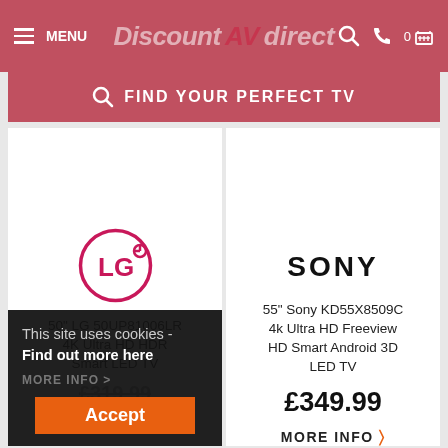MENU | Discount AV direct
FIND YOUR PERFECT TV
[Figure (logo): LG logo — pink circle with LG letters]
50" LG 50UP81006LR 4K Ultra HD HDR Smart LED TV
[Figure (logo): SONY text logo in bold black letters]
55" Sony KD55X8509C 4k Ultra HD Freeview HD Smart Android 3D LED TV
£349.99
MORE INFO
This site uses cookies - Find out more here